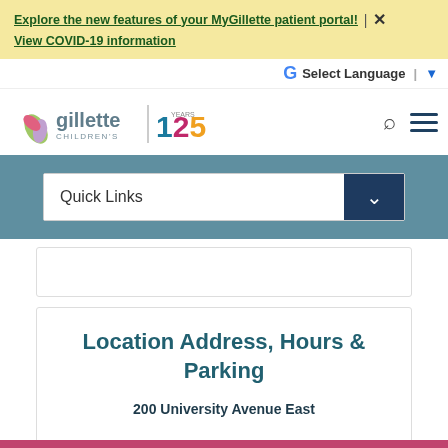Explore the new features of your MyGillette patient portal! | × View COVID-19 information
Select Language | ▼
[Figure (logo): Gillette Children's logo with 125 years anniversary mark]
Quick Links
Location Address, Hours & Parking
200 University Avenue East